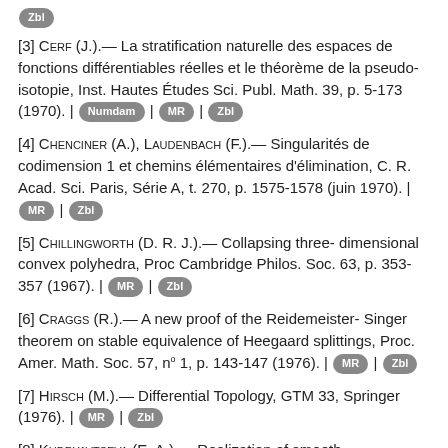[Zbl badge at top]
[3] Cerf (J.).— La stratification naturelle des espaces de fonctions différentiables réelles et le théorème de la pseudo-isotopie, Inst. Hautes Études Sci. Publ. Math. 39, p. 5-173 (1970). | Numdam | MR | Zbl
[4] Chenciner (A.), Laudenbach (F.).— Singularités de codimension 1 et chemins élémentaires d'élimination, C. R. Acad. Sci. Paris, Série A, t. 270, p. 1575-1578 (juin 1970). | MR | Zbl
[5] Chillingworth (D. R. J.).— Collapsing three-dimensional convex polyhedra, Proc Cambridge Philos. Soc. 63, p. 353-357 (1967). | MR | Zbl
[6] Craggs (R.).— A new proof of the Reidemeister-Singer theorem on stable equivalence of Heegaard splittings, Proc. Amer. Math. Soc. 57, n° 1, p. 143-147 (1976). | MR | Zbl
[7] Hirsch (M.).— Differential Topology, GTM 33, Springer (1976). | MR | Zbl
[8] Kudryavtseva (E. A.).— Realization of smooth